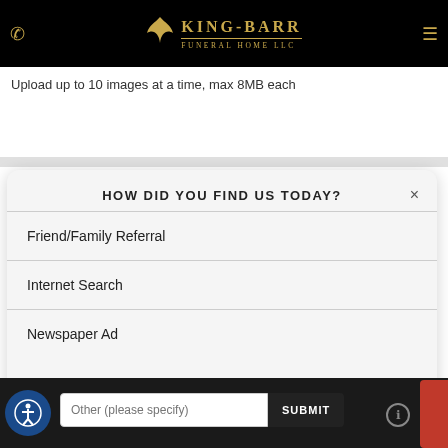KING-BARR FUNERAL HOME LLC
Upload up to 10 images at a time, max 8MB each
HOW DID YOU FIND US TODAY?
Friend/Family Referral
Internet Search
Newspaper Ad